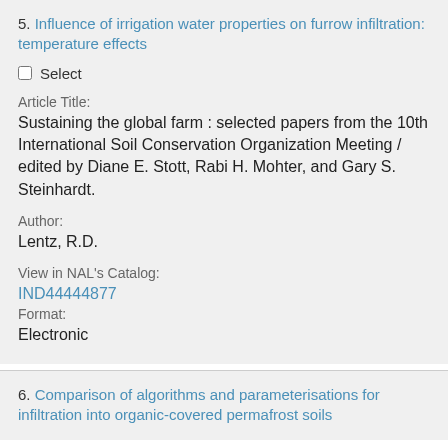5. Influence of irrigation water properties on furrow infiltration: temperature effects
Select
Article Title:
Sustaining the global farm : selected papers from the 10th International Soil Conservation Organization Meeting / edited by Diane E. Stott, Rabi H. Mohter, and Gary S. Steinhardt.
Author:
Lentz, R.D.
View in NAL's Catalog:
IND44444877
Format:
Electronic
6. Comparison of algorithms and parameterisations for infiltration into organic-covered permafrost soils